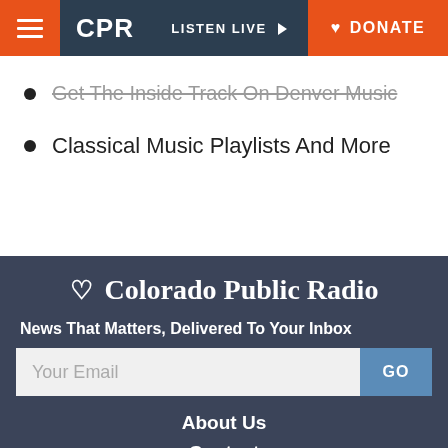CPR | LISTEN LIVE | DONATE
Get The Inside Track On Denver Music
Classical Music Playlists And More
[Figure (logo): Colorado Public Radio logo with stylized CPR icon]
News That Matters, Delivered To Your Inbox
Your Email GO
About Us
Contact
Listen
Support